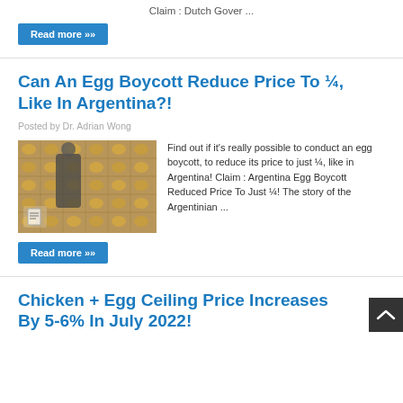Claim : Dutch Gover ...
Read more »
Can An Egg Boycott Reduce Price To ¼, Like In Argentina?!
Posted by Dr. Adrian Wong
[Figure (photo): Photo of a man standing among crates of eggs in a warehouse/chicken farm]
Find out if it's really possible to conduct an egg boycott, to reduce its price to just ¼, like in Argentina! Claim : Argentina Egg Boycott Reduced Price To Just ¼! The story of the Argentinian ...
Read more »
Chicken + Egg Ceiling Price Increases By 5-6% In July 2022!